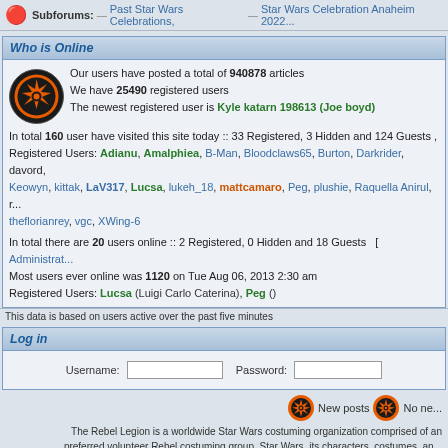Subforums: → Past Star Wars Celebrations, → Star Wars Celebration Anaheim 2022
Who is Online
Our users have posted a total of 940878 articles We have 25490 registered users The newest registered user is Kyle katarn 198613 (Joe boyd) In total 160 user have visited this site today :: 33 Registered, 3 Hidden and 124 Guests Registered Users: Adianu, Amalphiea, B-Man, Bloodclaws65, Burton, Darkrider, davord, Keowyn, kittak, LaV317, Lucsa, lukeh_18, mattcamaro, Peg, plushie, Raquella Anirul, r, theflorianrey, vgc, XWing-6 In total there are 20 users online :: 2 Registered, 0 Hidden and 18 Guests [ Administrat Most users ever online was 1120 on Tue Aug 06, 2013 2:30 am Registered Users: Lucsa (Luigi Carlo Caterina), Peg ()
This data is based on users active over the past five minutes
Log in
Username: [input] Password: [input]
New posts   No ne...
The Rebel Legion is a worldwide Star Wars costuming organization comprised of an preferred volunteer Rebel costuming group. Star Wars, its characters, costumes, an & ™ All rights reserved. - Privac
Powered by phpBB © 2